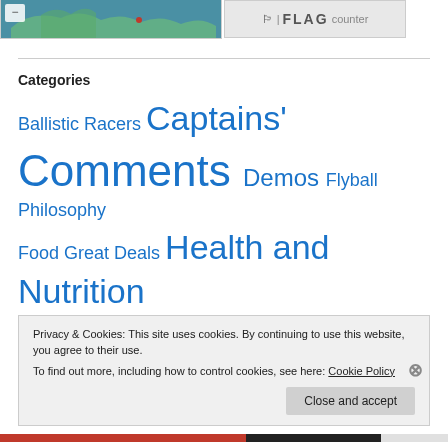[Figure (screenshot): Map thumbnail with blue/teal background showing geographic outlines, with a red dot marker. Adjacent to a FLAG counter widget logo.]
Categories
Ballistic Racers Captains' Comments Demos Flyball Philosophy Food Great Deals Health and Nutrition Meet The Groomer
Privacy & Cookies: This site uses cookies. By continuing to use this website, you agree to their use.
To find out more, including how to control cookies, see here: Cookie Policy
Close and accept